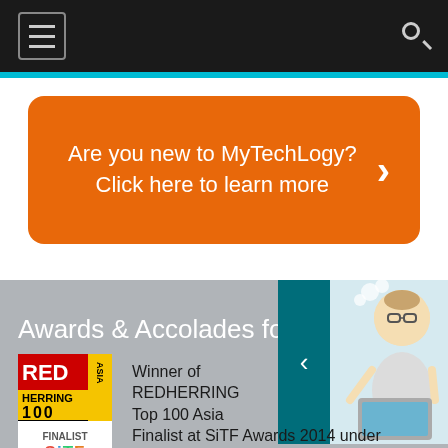Navigation bar with hamburger menu and search icon
Are you new to MyTechLogy? Click here to learn more
Awards & Accolades for MyTechL
[Figure (illustration): Illustrated character with glasses thinking, next to a teal left-arrow navigation panel]
[Figure (logo): Red Herring Asia 100 Winner logo — red, black, yellow badge]
Winner of REDHERRING Top 100 Asia
[Figure (logo): Finalist SiTF Awards 2014 logo]
Finalist at SiTF Awards 2014 under the category Best Social &